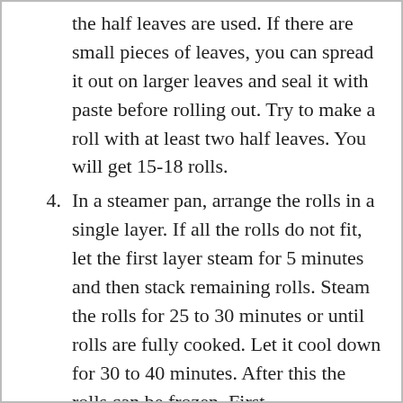the half leaves are used. If there are small pieces of leaves, you can spread it out on larger leaves and seal it with paste before rolling out. Try to make a roll with at least two half leaves. You will get 15-18 rolls.
4. In a steamer pan, arrange the rolls in a single layer. If all the rolls do not fit, let the first layer steam for 5 minutes and then stack remaining rolls. Steam the rolls for 25 to 30 minutes or until rolls are fully cooked. Let it cool down for 30 to 40 minutes. After this the rolls can be frozen. First